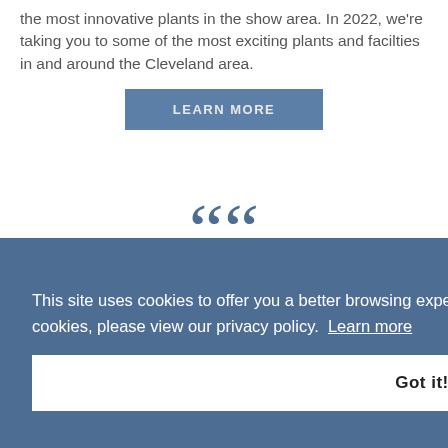the most innovative plants in the show area. In 2022, we're taking you to some of the most exciting plants and facilties in and around the Cleveland area.
LEARN MORE
[Figure (illustration): Large decorative opening quotation mark in steel blue color]
This site uses cookies to offer you a better browsing experience. For information on how we use cookies, please view our privacy policy. Learn more
Got it!
global
tput.
ourney